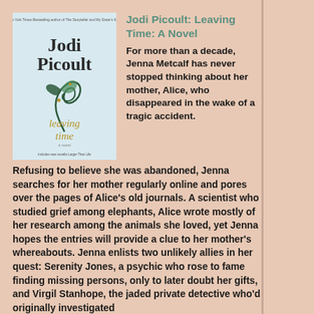[Figure (illustration): Book cover of 'Leaving Time' by Jodi Picoult — light blue background with stylized swirling vine/leaf design in dark green and gold, author name 'Jodi Picoult' in large dark text, title 'leaving time' in gold serif font, subtitle text at top and bottom in small print.]
Jodi Picoult: Leaving Time: A Novel
For more than a decade, Jenna Metcalf has never stopped thinking about her mother, Alice, who disappeared in the wake of a tragic accident. Refusing to believe she was abandoned, Jenna searches for her mother regularly online and pores over the pages of Alice's old journals. A scientist who studied grief among elephants, Alice wrote mostly of her research among the animals she loved, yet Jenna hopes the entries will provide a clue to her mother's whereabouts. Jenna enlists two unlikely allies in her quest: Serenity Jones, a psychic who rose to fame finding missing persons, only to later doubt her gifts, and Virgil Stanhope, the jaded private detective who'd originally investigated